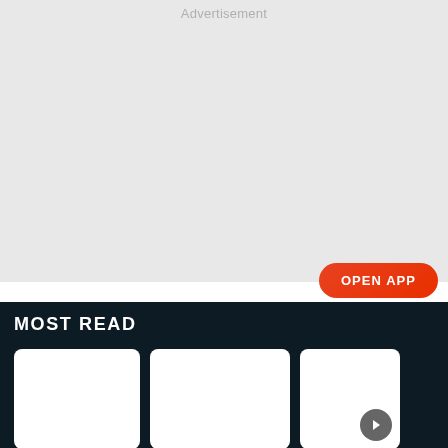Advertisement
OPEN APP
MOST READ
[Figure (other): Three card thumbnails in a 'Most Read' section with white background cards on dark navy background. A grey circular arrow button is visible on the third (partially visible) card.]